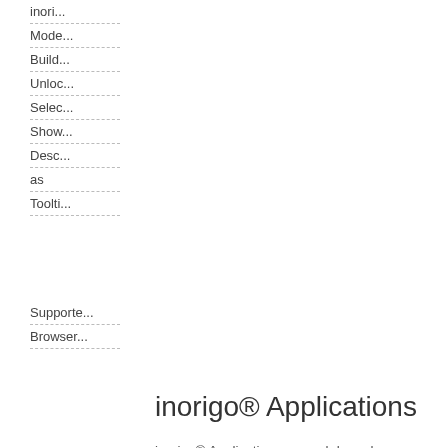inori...
Mode...
Build...
Unloc...
Selec...
Show...
Desc...
as
Toolti...
Supporte...
Browser...
inorigo® Applications
inorigo® Applications are web based solutions that through a set of components allows users to view, export and import data. Applications can vary widely in complexity, appearance and usage and are